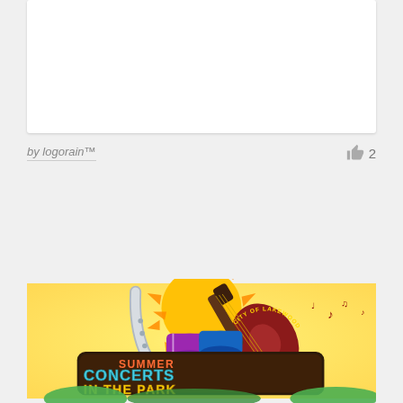[Figure (illustration): White card placeholder area at top of page]
by logorain™
[Figure (logo): Summer Concerts in the Park logo for City of Lakewood, featuring a sun, guitar, saxophone, drums, and musical notes with colorful lettering]